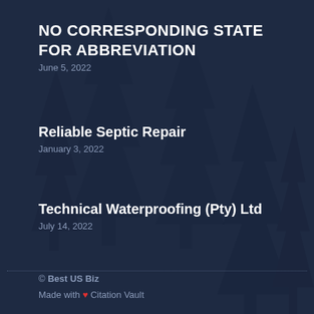NO CORRESPONDING STATE FOR ABBREVIATION
June 5, 2022
Reliable Septic Repair
January 3, 2022
Technical Waterproofing (Pty) Ltd
July 14, 2022
© Best US Biz
Made with ❤ Citation Vault